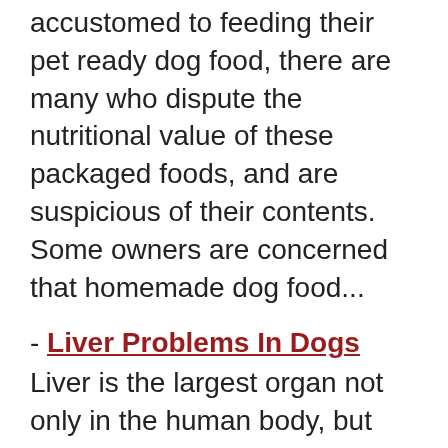accustomed to feeding their pet ready dog food, there are many who dispute the nutritional value of these packaged foods, and are suspicious of their contents. Some owners are concerned that homemade dog food...
- Liver Problems In Dogs
Liver is the largest organ not only in the human body, but also in a dog's body. The liver is situated in the abdomen behind the diaphragm in dogs. The liver is one of the most important organs as most of the biochemical pathways that help in...
- Dog Diet For Kidney Disease
Similar to us humans, kidney disease is not uncommon in our canine pets. Canine kidney disease is one of the common dog illnesses that a dog can suffer from. Kidney disease is caused due to various reasons and it mainly